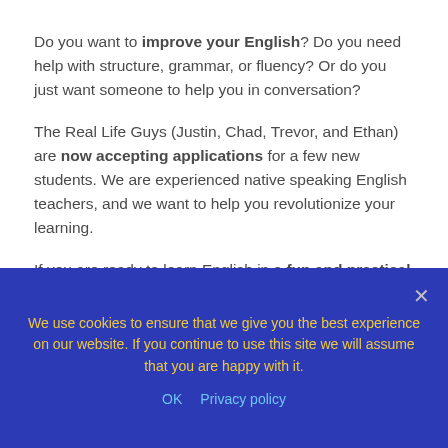Do you want to improve your English? Do you need help with structure, grammar, or fluency? Or do you just want someone to help you in conversation?
The Real Life Guys (Justin, Chad, Trevor, and Ethan) are now accepting applications for a few new students. We are experienced native speaking English teachers, and we want to help you revolutionize your learning.
If you are ready to learn English in a fun and practical way, then we are here to help you on your path to English fluency! We accept students of all levels and backgrounds and we cater our lessons to your needs.
We use cookies to ensure that we give you the best experience on our website. If you continue to use this site we will assume that you are happy with it.
OK   Privacy policy